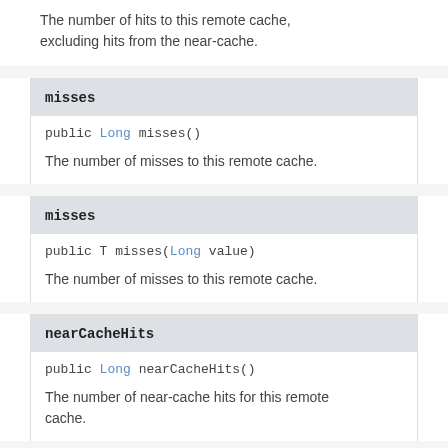The number of hits to this remote cache, excluding hits from the near-cache.
misses
public Long misses()
The number of misses to this remote cache.
misses
public T misses(Long value)
The number of misses to this remote cache.
nearCacheHits
public Long nearCacheHits()
The number of near-cache hits for this remote cache.